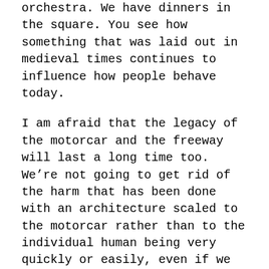orchestra. We have dinners in the square. You see how something that was laid out in medieval times continues to influence how people behave today.
I am afraid that the legacy of the motorcar and the freeway will last a long time too. We’re not going to get rid of the harm that has been done with an architecture scaled to the motorcar rather than to the individual human being very quickly or easily, even if we significantly modify our forms of transportation, and there don’t seem to be many signs of that. Hundreds of years from now, our lives could continue to be misshapen because of autoroutes and things like that. It’s sobering to think of that.
The great advantage of Miami is that it is